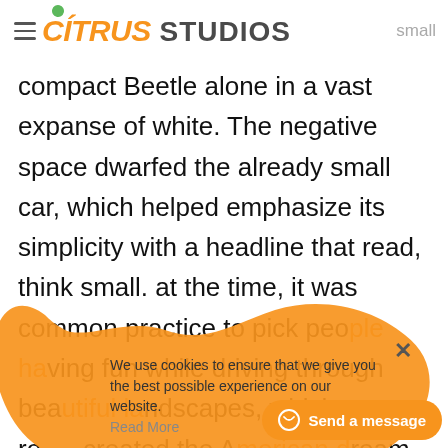CITRUS STUDIOS — small
compact Beetle alone in a vast expanse of white. The negative space dwarfed the already small car, which helped emphasize its simplicity with a headline that read, think small. at the time, it was common practice to pick people having fun while driving through beautiful landscapes, which recreated the American dream. disruptive, this small car grabbed people's attention was on it because no one had seen
[Figure (illustration): Orange blob/cookie popup overlay with close X button and text: We use cookies to ensure that we give you the best possible experience on our website. Read More]
[Figure (infographic): Send a message chat button (orange rounded pill shape with chat icon)]